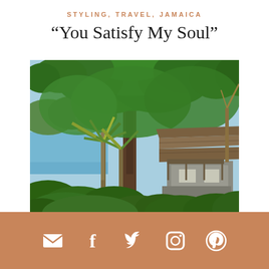STYLING, TRAVEL, JAMAICA
“You Satisfy My Soul”
[Figure (photo): Tropical scene in Jamaica showing lush green trees including a large central tree, palm trees, blue ocean water visible on the left, and a thatched-roof building/bungalow partially visible on the right side, with dense tropical vegetation in foreground]
Social media icons: email, facebook, twitter, instagram, pinterest